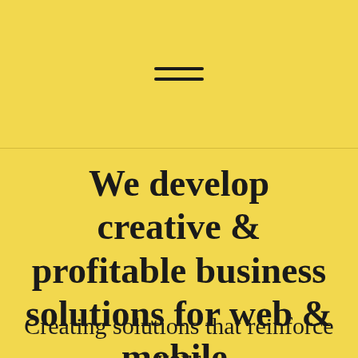[Figure (other): Hamburger menu icon — two horizontal parallel lines stacked]
We develop creative & profitable business solutions for web & mobile.
Creating solutions that reinforce your credibility, communicate the right